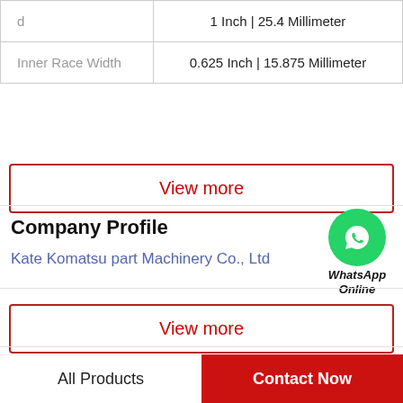| Property | Value |
| --- | --- |
| d | 1 Inch | 25.4 Millimeter |
| Inner Race Width | 0.625 Inch | 15.875 Millimeter |
View more
Company Profile
Kate Komatsu part Machinery Co., Ltd
[Figure (logo): WhatsApp Online icon with green circle and phone symbol, labeled WhatsApp Online]
View more
Related News
All Products
Contact Now